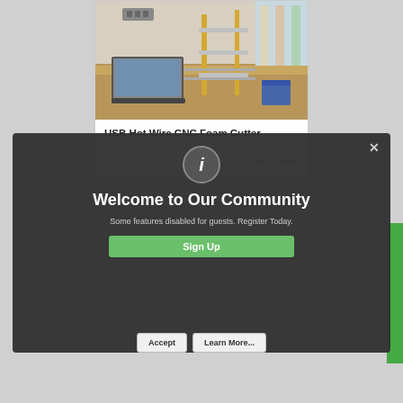[Figure (photo): Workshop bench with laptop, CNC frame/rails, and tools on a wooden surface]
USB Hot Wire CNC Foam Cutter
★ ★ ★ ★ ★   Jul 11, 2020
OTHER BUILDR PROJECTS
B.uild Comm.inity
[Figure (screenshot): Modal dialog: Welcome to Our Community. Some features disabled for guests. Register Today. Sign Up button. Background shows cookie consent text and Accept / Learn More buttons.]
This site uses cookies to help personalise content, tailor your experience and to keep you logged in if you register.
By continuing to use this site, you are consenting to our use of cookies.
Accept
Learn More...